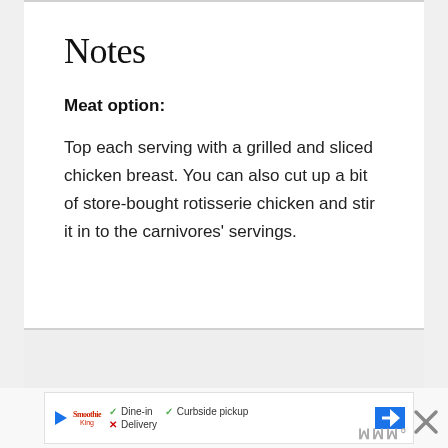Notes
Meat option:
Top each serving with a grilled and sliced chicken breast. You can also cut up a bit of store-bought rotisserie chicken and stir it in to the carnivores' servings.